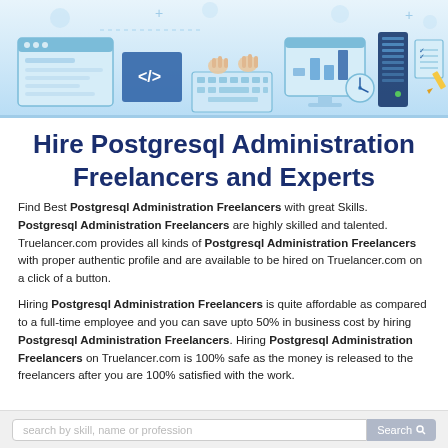[Figure (illustration): Technology banner with icons: browser window, code tag, keyboard with hands typing, monitor with chart, server/database, clock, document with checklist, pencil — all in a light blue flat-design style]
Hire Postgresql Administration Freelancers and Experts
Find Best Postgresql Administration Freelancers with great Skills. Postgresql Administration Freelancers are highly skilled and talented. Truelancer.com provides all kinds of Postgresql Administration Freelancers with proper authentic profile and are available to be hired on Truelancer.com on a click of a button.
Hiring Postgresql Administration Freelancers is quite affordable as compared to a full-time employee and you can save upto 50% in business cost by hiring Postgresql Administration Freelancers. Hiring Postgresql Administration Freelancers on Truelancer.com is 100% safe as the money is released to the freelancers after you are 100% satisfied with the work.
search by skill, name or profession   Search